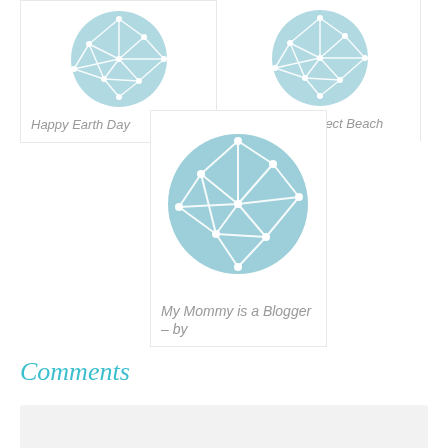[Figure (illustration): Blog post card with teal network globe icon and italic gray text 'Happy Earth Day']
[Figure (illustration): Blog post card with teal network globe icon and italic gray text 'Packing the Perfect Beach']
[Figure (illustration): Blog post card with larger teal network globe icon and italic gray text 'My Mommy is a Blogger – by']
Comments